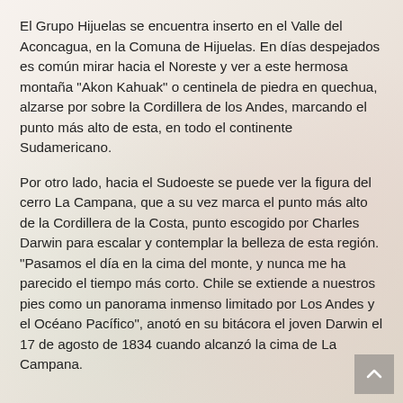El Grupo Hijuelas se encuentra inserto en el Valle del Aconcagua, en la Comuna de Hijuelas. En días despejados es común mirar hacia el Noreste y ver a este hermosa montaña "Akon Kahuak" o centinela de piedra en quechua, alzarse por sobre la Cordillera de los Andes, marcando el punto más alto de esta, en todo el continente Sudamericano.
Por otro lado, hacia el Sudoeste se puede ver la figura del cerro La Campana, que a su vez marca el punto más alto de la Cordillera de la Costa, punto escogido por Charles Darwin para escalar y contemplar la belleza de esta región. "Pasamos el día en la cima del monte, y nunca me ha parecido el tiempo más corto. Chile se extiende a nuestros pies como un panorama inmenso limitado por Los Andes y el Océano Pacífico", anotó en su bitácora el joven Darwin el 17 de agosto de 1834 cuando alcanzó la cima de La Campana.